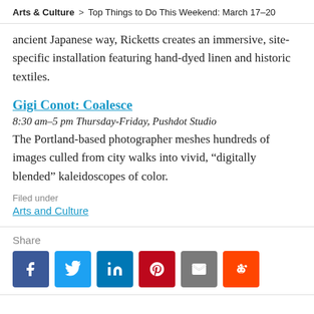Arts & Culture > Top Things to Do This Weekend: March 17–20
ancient Japanese way, Ricketts creates an immersive, site-specific installation featuring hand-dyed linen and historic textiles.
Gigi Conot: Coalesce
8:30 am–5 pm Thursday-Friday, Pushdot Studio
The Portland-based photographer meshes hundreds of images culled from city walks into vivid, “digitally blended” kaleidoscopes of color.
Filed under
Arts and Culture
Share